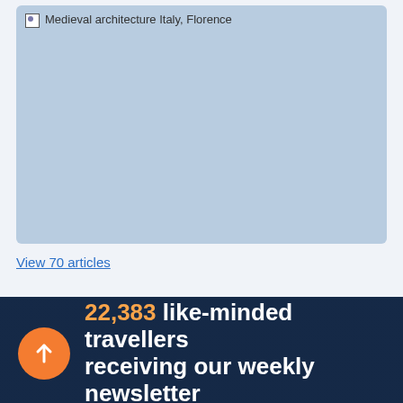[Figure (photo): Placeholder image for Medieval architecture Italy, Florence — shown as a broken image with light blue background]
View 70 articles
↑ 22,383 like-minded travellers receiving our weekly newsletter